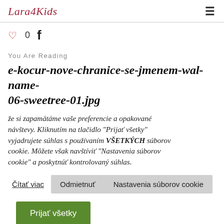Lara4Kids
♡ 0  f
You Are Reading
e-kocur-nove-chranice-se-jmenem-wal-name-06-sweetree-01.jpg
že si zapamätáme vaše preferencie a opakované návštevy. Kliknutím na tlačidlo "Prijať všetky" vyjadrujete súhlas s používaním VŠETKÝCH súborov cookie. Môžete však navštíviť "Nastavenia súborov cookie" a poskytnúť kontrolovaný súhlas.
Čítať viac  Odmietnuť  Nastavenia súborov cookie
Prijať všetky